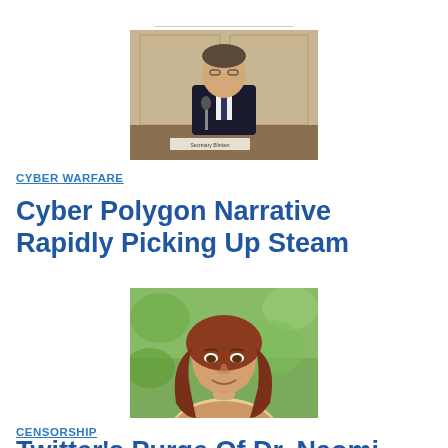[Figure (photo): A man in a dark suit sitting at a desk with a microphone, appears to be in a formal meeting setting with ornate background decor. A nameplate reading 'Secretary Blinken' is visible.]
CYBER WARFARE
Cyber Polygon Narrative Rapidly Picking Up Steam
[Figure (photo): Portrait of a woman with long reddish-brown hair, smiling slightly, photographed outdoors with green foliage in the background. This appears to be Dr. Naomi Wolf.]
CENSORSHIP
Twitter's Purge Of Dr. Naomi